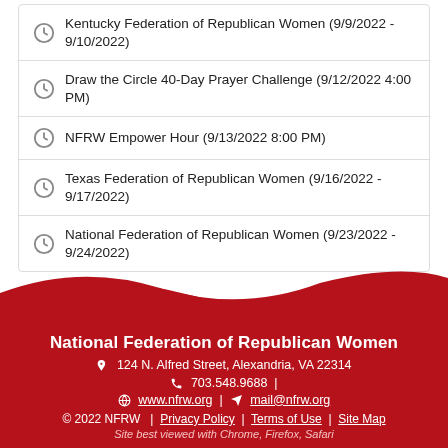Kentucky Federation of Republican Women (9/9/2022 - 9/10/2022)
Draw the Circle 40-Day Prayer Challenge (9/12/2022 4:00 PM)
NFRW Empower Hour (9/13/2022 8:00 PM)
Texas Federation of Republican Women (9/16/2022 - 9/17/2022)
National Federation of Republican Women (9/23/2022 - 9/24/2022)
National Federation of Republican Women
124 N. Alfred Street, Alexandria, VA 22314
703.548.9688 |
www.nfrw.org | mail@nfrw.org
© 2022 NFRW | Privacy Policy | Terms of Use | Site Map
Site best viewed with Chrome, Firefox, Safari